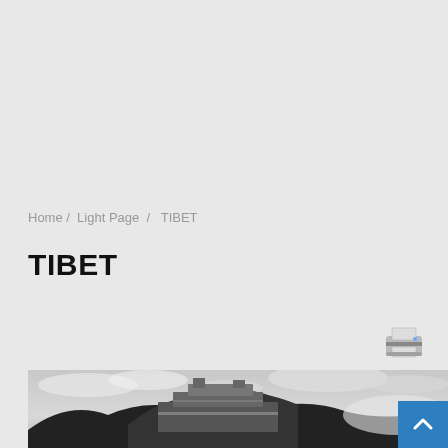Home / Light Page / TIBET
TIBET
[Figure (illustration): Printer icon]
[Figure (photo): Black and white photograph of the Potala Palace in Tibet, perched on a hillside with dramatic cloudy sky]
[Figure (other): Blue back-to-top button with upward chevron arrow]